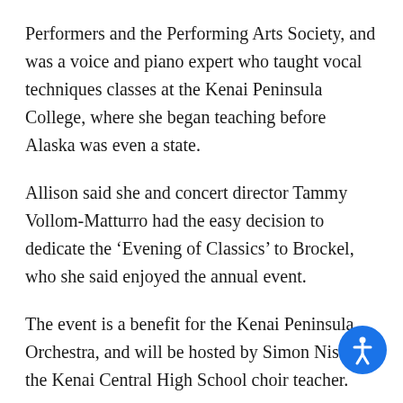Performers and the Performing Arts Society, and was a voice and piano expert who taught vocal techniques classes at the Kenai Peninsula College, where she began teaching before Alaska was even a state.
Allison said she and concert director Tammy Vollom-Matturro had the easy decision to dedicate the ‘Evening of Classics’ to Brockel, who she said enjoyed the annual event.
The event is a benefit for the Kenai Peninsula Orchestra, and will be hosted by Simon Nissen, the Kenai Central High School choir teacher.
The Redoubt Chamber Orchestra will be directed by Vollom-Matturro, who said the amount of musical talent gracing the stage tonight is one of the d… of the annual concert.